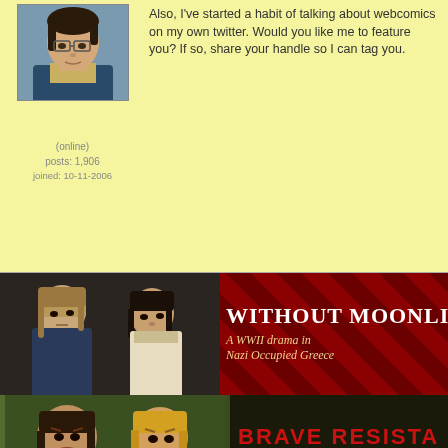[Figure (illustration): Avatar of a person with glasses, dark hair, partial view at top of page]
(online)
posts: 1,906
joined: 10-11-2006
Also, I've started a habit of talking about webcomics on my own twitter. Would you like me to feature you? If so, share your handle so I can tag you.
[Figure (illustration): WITHOUT MOONLIGHT banner - A WWII drama in Nazi Occupied Greece, with character illustrations on dark red checkered background]
[Figure (illustration): BRAVE RESISTANCE banner with character illustrations on dark green background, credits TANTZ AERINE and PIT FA...]
last edited on May 8, 2018 1:31PM
search this topic
contact/about
policies
©2011 WOWIO, Inc. All Rights Reserved Google+